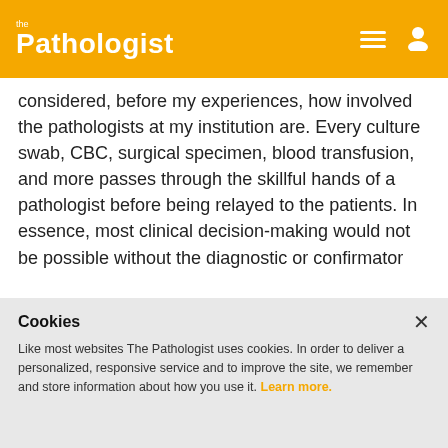the Pathologist
considered, before my experiences, how involved the pathologists at my institution are. Every culture swab, CBC, surgical specimen, blood transfusion, and more passes through the skillful hands of a pathologist before being relayed to the patients. In essence, most clinical decision-making would not be possible without the diagnostic or confirmatory information pathologists provide.
Consider a patient with a UTI who is treated
Cookies
Like most websites The Pathologist uses cookies. In order to deliver a personalized, responsive service and to improve the site, we remember and store information about how you use it. Learn more.